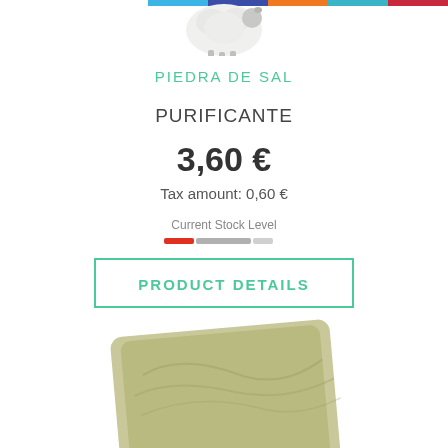[Figure (photo): Partial view of a white animal figure (sheep/lamb) at the top of the page, cropped]
PIEDRA DE SAL
PURIFICANTE
3,60 €
Tax amount: 0,60 €
Current Stock Level
[Figure (infographic): Horizontal stock level bar showing red/orange segment on left and grey segment, indicating partial stock level]
PRODUCT DETAILS
[Figure (photo): Partial view of a greenish/olive soap bar at the bottom of the page, cropped]